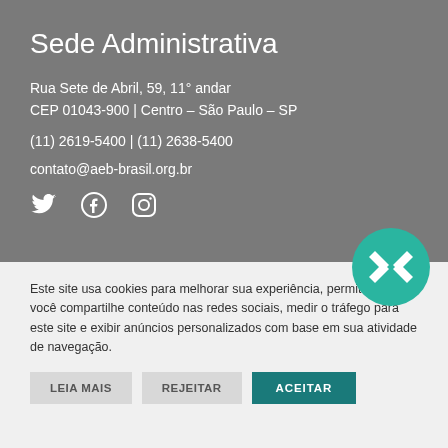Sede Administrativa
Rua Sete de Abril, 59, 11° andar
CEP 01043-900 | Centro – São Paulo – SP
(11) 2619-5400 | (11) 2638-5400
contato@aeb-brasil.org.br
[Figure (logo): Social media icons: Twitter, Facebook, Instagram]
[Figure (logo): Teal circular Pix badge with white diamond/kite logo]
Este site usa cookies para melhorar sua experiência, permitir que você compartilhe conteúdo nas redes sociais, medir o tráfego para este site e exibir anúncios personalizados com base em sua atividade de navegação.
LEIA MAIS   REJEITAR   ACEITAR